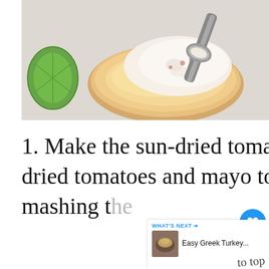[Figure (photo): Overhead photo of bread with a creamy white sauce being spooned on top, with a lime/lemon wedge on the left side, on a white/grey surface]
1. Make the sun-dried tomato mayo by adding the sun-dried tomatoes and mayo to a small bowl, and mix, mashing the